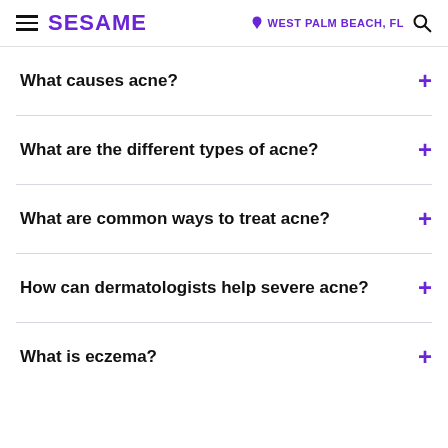SESAME | WEST PALM BEACH, FL
What causes acne?
What are the different types of acne?
What are common ways to treat acne?
How can dermatologists help severe acne?
What is eczema?